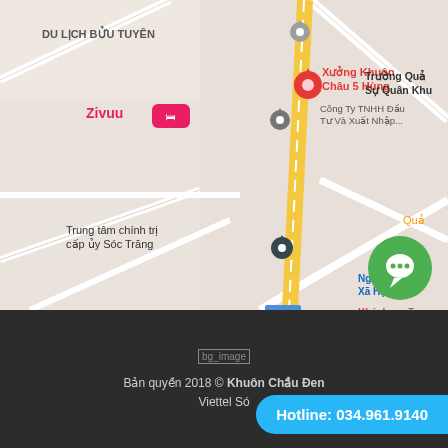[Figure (map): Google Maps screenshot showing a location in Sóc Trăng, Vietnam. A yellow highway (QL1A) runs vertically through the center. Marked locations include: Xưởng Khuôn Châu 5 Hùng (red pin), DU LỊCH BỬU TUYÊN, Zivuu hotel, Công Ty TNHH Đầu Tư Và Xuất Nhập..., Trung tâm chính trị cấp ủy Sóc Trăng, Trường Quân Sự Quân Khu, Ngân Hàng Xã Hội, Khách sạn, HT PET GRADEN, Áng Long. QL1A road label visible. Green chat bubble in bottom right corner.]
[Figure (other): Broken image placeholder labeled 'bg_image' centered in dark footer area]
Bản quyền 2018 © Khuôn Chầu Đen
Viettel Só  Hotline: 034.961.9140